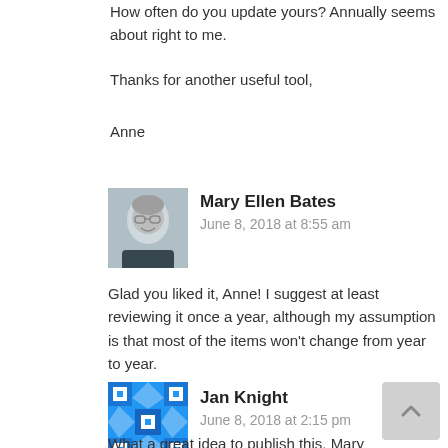How often do you update yours? Annually seems about right to me.
Thanks for another useful tool,
Anne
[Figure (photo): Avatar photo of Mary Ellen Bates, a woman with short grey hair and glasses, smiling]
Mary Ellen Bates
June 8, 2018 at 8:55 am
Glad you liked it, Anne! I suggest at least reviewing it once a year, although my assumption is that most of the items won't change from year to year.
[Figure (illustration): Blue and white geometric/quilt pattern avatar icon for Jan Knight]
Jan Knight
June 8, 2018 at 2:15 pm
What a great idea to publish this, Mary Ellen. It brings up so